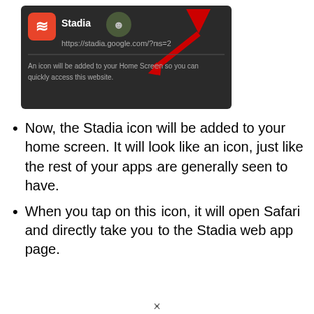[Figure (screenshot): A smartphone screenshot showing a browser prompt to add Stadia to the home screen. It shows the Stadia app icon (red/orange with white S), the text 'Stadia', a robot icon, the URL 'https://stadia.google.com/?ns=2', and the message 'An icon will be added to your Home Screen so you can quickly access this website.' A large red arrow points to the top-right of the dialog.]
Now, the Stadia icon will be added to your home screen. It will look like an icon, just like the rest of your apps are generally seen to have.
When you tap on this icon, it will open Safari and directly take you to the Stadia web app page.
x